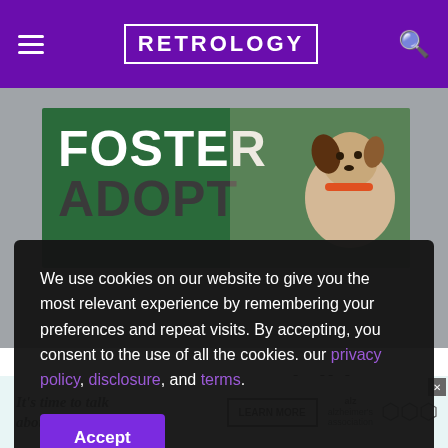RETROLOGY
[Figure (photo): Foster Adopt banner image showing a dog with a green background and large white/dark text reading FOSTER ADOPT]
We use cookies on our website to give you the most relevant experience by remembering your preferences and repeat visits. By accepting, you consent to the use of all the cookies. our privacy policy, disclosure, and terms.
Stay On Target – Minikit #5
[Figure (other): Advertisement banner: It's time to talk about Alzheimer's. with LEARN MORE button and Alzheimer's Association logo]